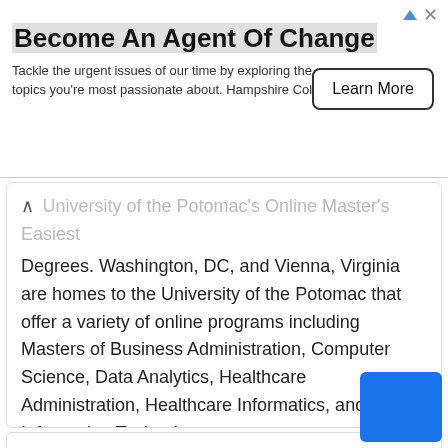[Figure (infographic): Advertisement banner: 'Become An Agent Of Change' with 'Learn More' button and Hampshire College text]
University of the Potomac's Online Master's Easiest Degrees. Washington, DC, and Vienna, Virginia are homes to the University of the Potomac that offer a variety of online programs including Masters of Business Administration, Computer Science, Data Analytics, Healthcare Administration, Healthcare Informatics, and Information Technology.
Category: Education Online Courses
Preview / Show details
Free Online Courses Stanford Online
Experts Free Courses. Our free online courses provide you with an affordable and flexible way to learn new skills and study new and emerging topics. Learn from